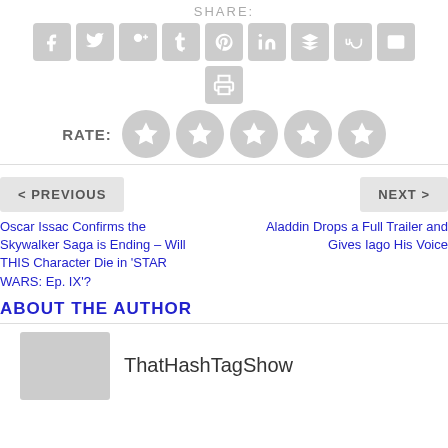SHARE:
[Figure (infographic): Row of 9 social media share icon buttons (facebook, twitter, google+, tumblr, pinterest, linkedin, buffer, stumbleupon, email) in gray rounded squares, plus a print icon below]
RATE:
[Figure (infographic): 5 gray star rating circles]
< PREVIOUS
NEXT >
Oscar Issac Confirms the Skywalker Saga is Ending – Will THIS Character Die in 'STAR WARS: Ep. IX'?
Aladdin Drops a Full Trailer and Gives Iago His Voice
ABOUT THE AUTHOR
ThatHashTagShow